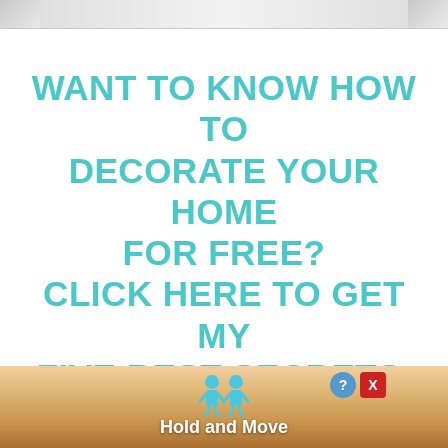[Figure (photo): Top strip showing partial photo of white/light interior scene, cropped]
WANT TO KNOW HOW TO DECORATE YOUR HOME FOR FREE? CLICK HERE TO GET MY FIVE BEST SECRETS.
Your first name
[Figure (infographic): Ad overlay banner at bottom: sandy/beach background with cartoon figures and 'Hold and Move' text, with close (X) and help (?) buttons]